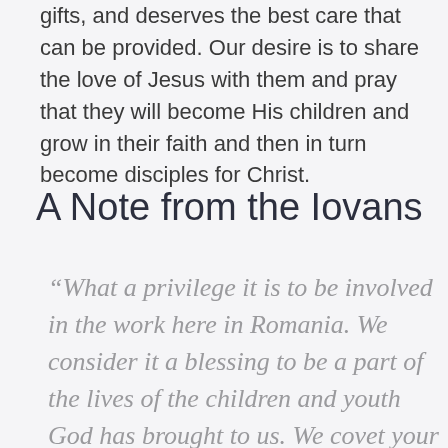gifts, and deserves the best care that can be provided. Our desire is to share the love of Jesus with them and pray that they will become His children and grow in their faith and then in turn become disciples for Christ.
A Note from the Iovans
“What a privilege it is to be involved in the work here in Romania. We consider it a blessing to be a part of the lives of the children and youth God has brought to us. We covet your prayers as we minister to those